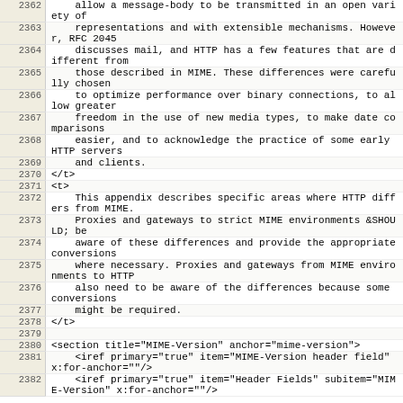| line | code |
| --- | --- |
| 2362 |     allow a message-body to be transmitted in an open variety of |
| 2363 |     representations and with extensible mechanisms. However, RFC 2045 |
| 2364 |     discusses mail, and HTTP has a few features that are different from |
| 2365 |     those described in MIME. These differences were carefully chosen |
| 2366 |     to optimize performance over binary connections, to allow greater |
| 2367 |     freedom in the use of new media types, to make date comparisons |
| 2368 |     easier, and to acknowledge the practice of some early HTTP servers |
| 2369 |     and clients. |
| 2370 | </t> |
| 2371 | <t> |
| 2372 |     This appendix describes specific areas where HTTP differs from MIME. |
| 2373 |     Proxies and gateways to strict MIME environments &SHOULD; be |
| 2374 |     aware of these differences and provide the appropriate conversions |
| 2375 |     where necessary. Proxies and gateways from MIME environments to HTTP |
| 2376 |     also need to be aware of the differences because some conversions |
| 2377 |     might be required. |
| 2378 | </t> |
| 2379 |  |
| 2380 | <section title="MIME-Version" anchor="mime-version"> |
| 2381 |     <iref primary="true" item="MIME-Version header field" x:for-anchor=""/> |
| 2382 |     <iref primary="true" item="Header Fields" subitem="MIME-Version" x:for-anchor=""/> |